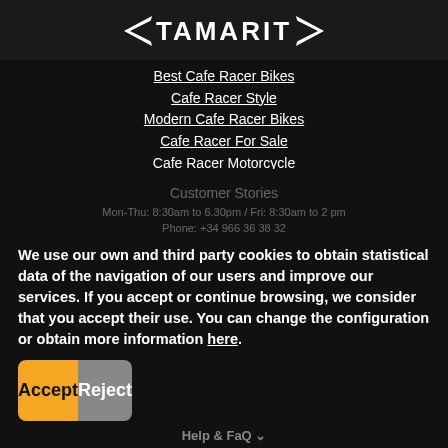[Figure (logo): Tamarit logo with wing emblems on each side, white text on dark background]
Best Cafe Racer Bikes
Cafe Racer Style
Modern Cafe Racer Bikes
Cafe Racer For Sale
Cafe Racer Motorcycle
Triumph
Scrambler Motorcycles
Bonneville
Triumph Scrambler Motorcycle
Triumph Bonneville Bobber
Street Twin
Dirt Track
We use our own and third party cookies to obtain statistical data of the navigation of our users and improve our services. If you accept or continue browsing, we consider that you accept their use. You can change the configuration or obtain more information here.
Accept
Reject
Help & FaQ ∨